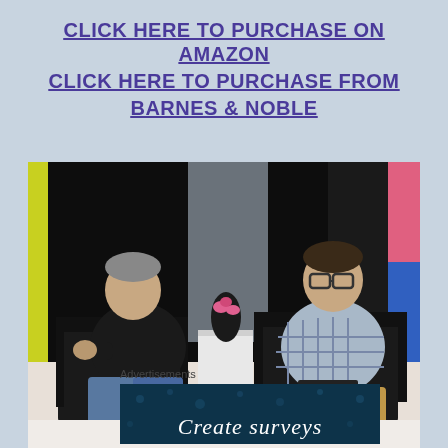CLICK HERE TO PURCHASE ON AMAZON
CLICK HERE TO PURCHASE FROM BARNES & NOBLE
[Figure (photo): Two men seated in black chairs on a stage set with a small table holding flowers between them. The man on the left wears dark clothing and jeans; the man on the right wears a plaid shirt and khaki pants and glasses.]
Advertisements
[Figure (other): Dark blue banner advertisement with dots and cursive text reading 'Create surveys']